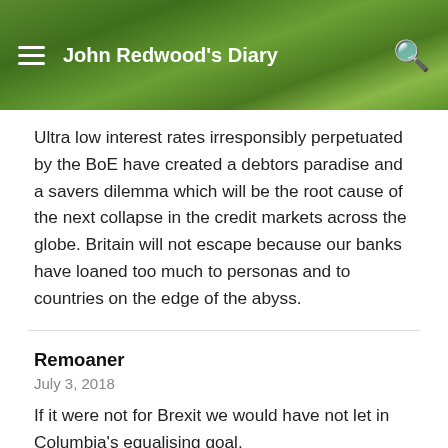John Redwood's Diary
Ultra low interest rates irresponsibly perpetuated by the BoE have created a debtors paradise and a savers dilemma which will be the root cause of the next collapse in the credit markets across the globe. Britain will not escape because our banks have loaned too much to personas and to countries on the edge of the abyss.
Remoaner
July 3, 2018
If it were not for Brexit we would have not let in Columbia's equalising goal.